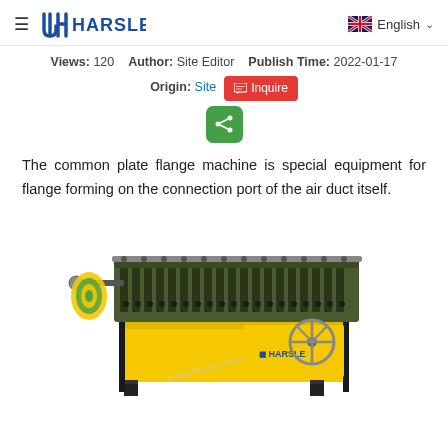≡ HARSLE | English ∨
Views: 120   Author: Site Editor   Publish Time: 2022-01-17
Origin: Site  [Inquire]
The common plate flange machine is special equipment for flange forming on the connection port of the air duct itself.
[Figure (photo): Industrial plate flange machine with yellow cabinet, dark green roll-forming head with multiple rollers, a handwheel, and HARSLE branding on the front panel. Watermark 'www.harsle.com' visible.]